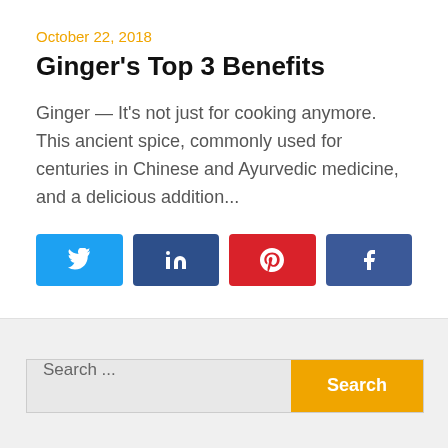October 22, 2018
Ginger's Top 3 Benefits
Ginger — It's not just for cooking anymore.  This ancient spice, commonly used for centuries in Chinese and Ayurvedic medicine, and a delicious addition...
[Figure (infographic): Social share buttons: Twitter (light blue), LinkedIn (dark blue), Pinterest (red), Facebook (blue)]
Search ...
CAN STRESS TRIGGER A RHEUMATOID